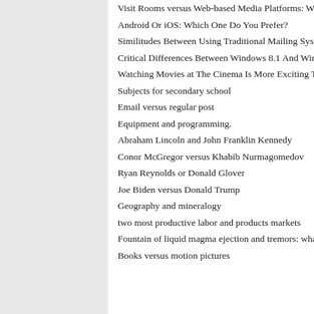Visit Rooms versus Web-based Media Platforms:…
Android Or iOS: Which One Do You Prefer?
Similitudes Between Using Traditional Mailing Syst…
Critical Differences Between Windows 8.1 And Win…
Watching Movies at The Cinema Is More Exciting T…
Subjects for secondary school
Email versus regular post
Equipment and programming.
Abraham Lincoln and John Franklin Kennedy
Conor McGregor versus Khabib Nurmagomedov
Ryan Reynolds or Donald Glover
Joe Biden versus Donald Trump
Geography and mineralogy
two most productive labor and products markets
Fountain of liquid magma ejection and tremors: wha…
Books versus motion pictures